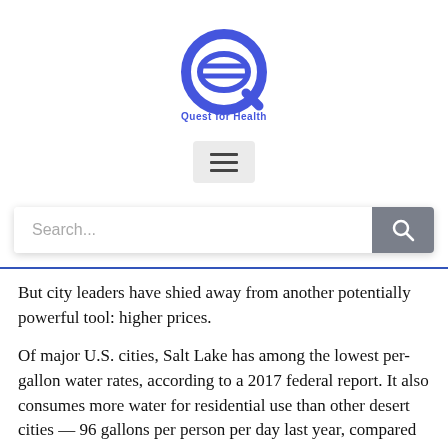[Figure (logo): Quest for Health logo — a stylized Q shape in blue with horizontal lines inside, with 'Quest for Health' text below in blue]
[Figure (other): Hamburger menu button (three horizontal lines) on a light grey rounded rectangle background]
[Figure (other): Search bar with placeholder text 'Search...' and a grey search icon button on the right]
But city leaders have shied away from another potentially powerful tool: higher prices.
Of major U.S. cities, Salt Lake has among the lowest per-gallon water rates, according to a 2017 federal report. It also consumes more water for residential use than other desert cities — 96 gallons per person per day last year, compared